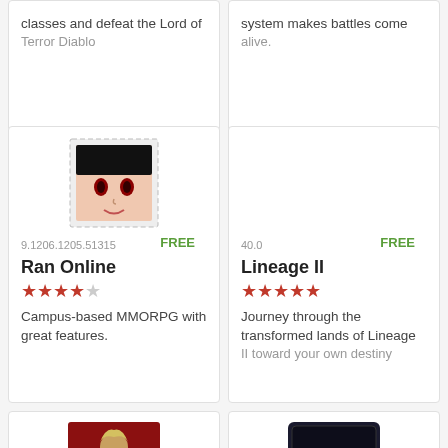classes and defeat the Lord of Terror Diablo
system makes battles come alive.
[Figure (illustration): Ran Online app icon - anime girl face with stamp-like border]
9.1206.1205.51315   FREE
Ran Online
★★★★☆
Campus-based MMORPG with great features.
40.0   FREE
Lineage II
★★★★½
Journey through the transformed lands of Lineage II toward your own destiny
[Figure (illustration): Metin2 app icon - warrior character with Chinese characters]
3.3.6.1   FREE
Metin2
★★★★☆
Become a martial arts master and protect your country and
[Figure (logo): AION game logo - dark background with AION text]
6218.411.110   FREE
AION
★★★★☆
Choose your side and battle against your enemies with this